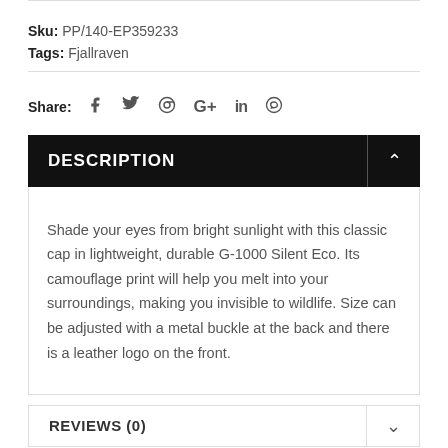Sku: PP/140-EP359233
Tags: Fjallraven
Share:
DESCRIPTION
Shade your eyes from bright sunlight with this classic cap in lightweight, durable G-1000 Silent Eco. Its camouflage print will help you melt into your surroundings, making you invisible to wildlife. Size can be adjusted with a metal buckle at the back and there is a leather logo on the front.
REVIEWS (0)